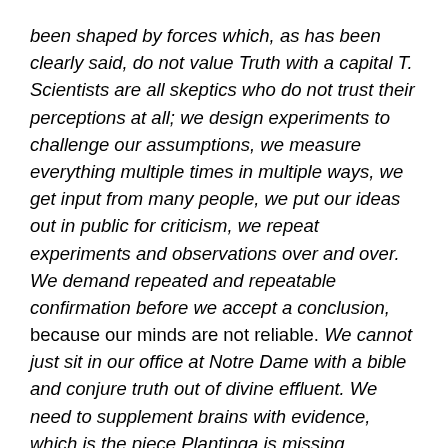been shaped by forces which, as has been clearly said, do not value Truth with a capital T. Scientists are all skeptics who do not trust their perceptions at all; we design experiments to challenge our assumptions, we measure everything multiple times in multiple ways, we get input from many people, we put our ideas out in public for criticism, we repeat experiments and observations over and over. We demand repeated and repeatable confirmation before we accept a conclusion, because our minds are not reliable. We cannot just sit in our office at Notre Dame with a bible and conjure truth out of divine effluent. We need to supplement brains with evidence, which is the piece Plantinga is missing.
The latter part of this quote contains a particularly astute observation: “We need to supplement brains with